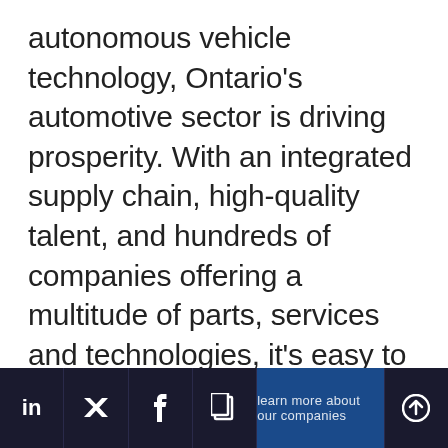autonomous vehicle technology, Ontario's automotive sector is driving prosperity. With an integrated supply chain, high-quality talent, and hundreds of companies offering a multitude of parts, services and technologies, it's easy to see how Ontario is driving innovation forward

We are proud to be bringing 10 companies to TU-Automotive Detroit
LinkedIn | Twitter | Facebook | Copy | Learn more about our companies | Scroll up